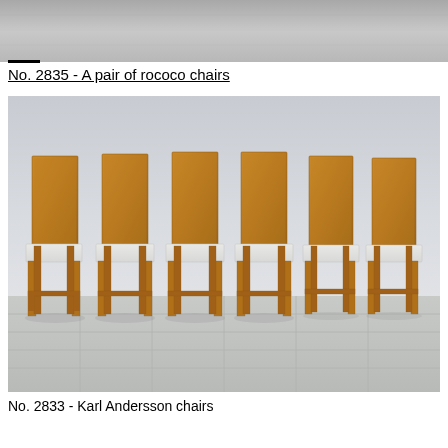[Figure (photo): Top portion of a room/chairs image, partially visible, gray background]
No. 2835 - A pair of rococo chairs
[Figure (photo): Six wooden dining chairs with tall flat backs and white upholstered seats arranged in a row in a minimalist room with light gray walls and tiled floor. The chairs are made of warm pine/oak wood with cross-brace stretchers between the legs.]
No. 2833 - Karl Andersson chairs